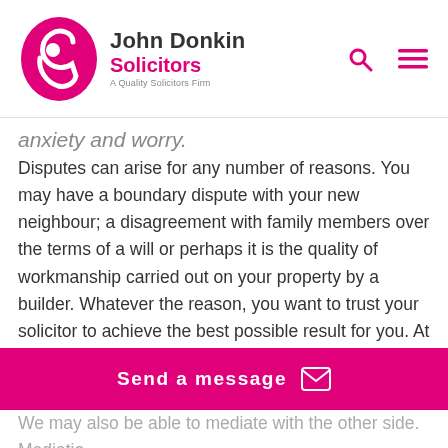John Donkin Solicitors — A Quality Solicitors Firm
anxiety and worry.
Disputes can arise for any number of reasons. You may have a boundary dispute with your new neighbour; a disagreement with family members over the terms of a will or perhaps it is the quality of workmanship carried out on your property by a builder. Whatever the reason, you want to trust your solicitor to achieve the best possible result for you. At John Donkin Solicitors you will have access to some of the best lawyers in the UK.
Disputes are often seen as expensive and lengthy. At the outset, we advise you on what the costs may be of pursuing your matter. We promise to keep you updated on costs throughout so that there are no nasty surprises when your dispute is resolved. Our lawyers will negotiate on your behalf
Send a message
We may also be able to mediate with the other side. Mediatio